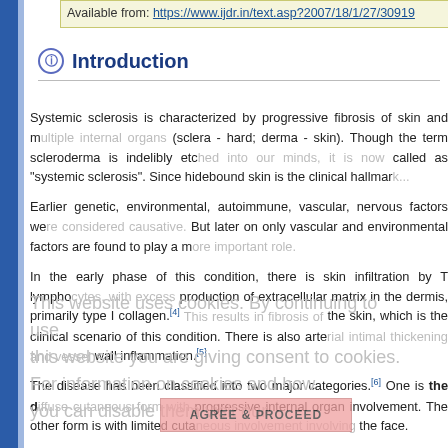Available from: https://www.ijdr.in/text.asp?2007/18/1/27/30919
Introduction
Systemic sclerosis is characterized by progressive fibrosis of skin and multiple internal organs, and is also known as scleroderma (sclera - hard; derma - skin). Though the term scleroderma is indelibly etched into our minds, this disease is now called as "systemic sclerosis". Since hidebound skin is the clinical hallmark of this condition...
Earlier genetic, environmental, autoimmune, vascular, nervous factors were considered to be the causative factors. But later on only vascular and environmental factors are found to play a more important role.
In the early phase of this condition, there is skin infiltration by T lymphocytes, with excess production of extracellular matrix in the dermis, primarily type I collagen.[4] This results in fibrosis of the skin, which is the clinical scenario of this condition. There is also arterial intimal thickening and vessel wall inflammation.[5]
The disease has been classified into two major categories.[6] One is the diffuse cutaneous form with progressive internal organ involvement. The other form is with limited cutaneous involvement, involving mainly the face.
A variant of this disease is known as the "CREST syndrome",[7] which stands for Calcinosis, Raynaud's phenomenon, Esophageal dysmotility with dysphagia, Sclerodactyly and Telangiectases.